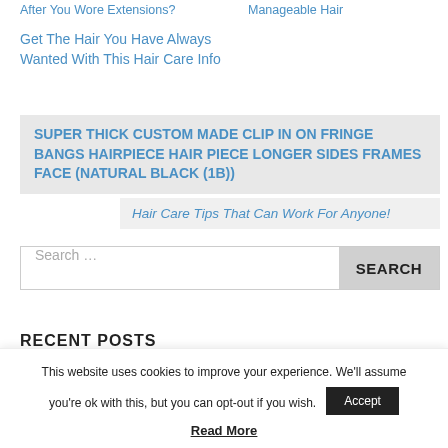After You Wore Extensions?
Manageable Hair
Get The Hair You Have Always Wanted With This Hair Care Info
SUPER THICK CUSTOM MADE CLIP IN ON FRINGE BANGS HAIRPIECE HAIR PIECE LONGER SIDES FRAMES FACE (NATURAL BLACK (1B))
Hair Care Tips That Can Work For Anyone!
Search …
SEARCH
RECENT POSTS
This website uses cookies to improve your experience. We'll assume you're ok with this, but you can opt-out if you wish.
Accept
Read More